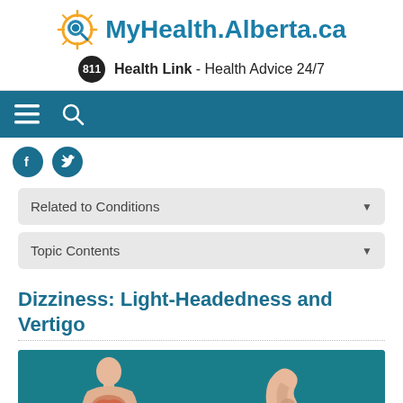[Figure (logo): MyHealth.Alberta.ca logo with sun/magnifier icon]
811  Health Link - Health Advice 24/7
[Figure (screenshot): Navigation bar with hamburger menu and search icon]
[Figure (infographic): Facebook and Twitter social media icon buttons]
Related to Conditions
Topic Contents
Dizziness: Light-Headedness and Vertigo
[Figure (illustration): Medical illustrations showing digestive system anatomy and ear anatomy on teal background]